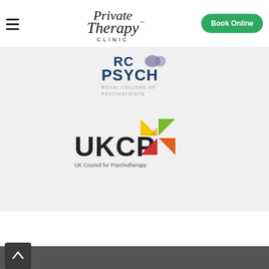[Figure (logo): Private Therapy Clinic logo - cursive script text]
[Figure (logo): Book Online green button]
[Figure (logo): RCPsych Royal College of Psychiatrists logo]
[Figure (logo): UKCP UK Council for Psychotherapy logo with colorful star/pinwheel graphic]
[Figure (logo): Up arrow button in dark square at bottom left of footer]